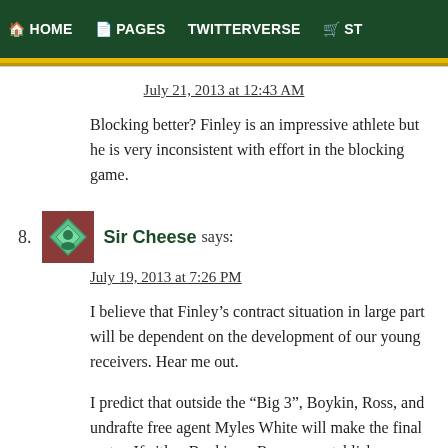HOME  PAGES  TWITTERVERSE  ST
July 21, 2013 at 12:43 AM
Blocking better? Finley is an impressive athlete but he is very inconsistent with effort in the blocking game.
8. Sir Cheese says:
July 19, 2013 at 7:26 PM
I believe that Finley’s contract situation in large part will be dependent on the development of our young receivers. Hear me out.
I predict that outside the “Big 3”, Boykin, Ross, and undrafted free agent Myles White will make the final roster. If either Boykin or Ross can establish themselves as a serviceable #4 WR with the potential to develop into a #3 next year, then Te